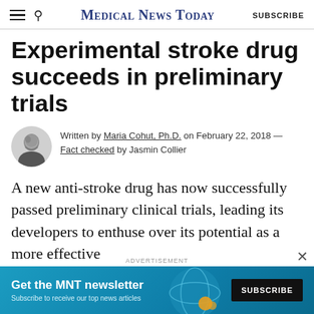MedicalNewsToday  SUBSCRIBE
Experimental stroke drug succeeds in preliminary trials
Written by Maria Cohut, Ph.D. on February 22, 2018 — Fact checked by Jasmin Collier
A new anti-stroke drug has now successfully passed preliminary clinical trials, leading its developers to enthuse over its potential as a more effective
[Figure (advertisement): MNT newsletter advertisement banner with subscribe button]
ADVERTISEMENT